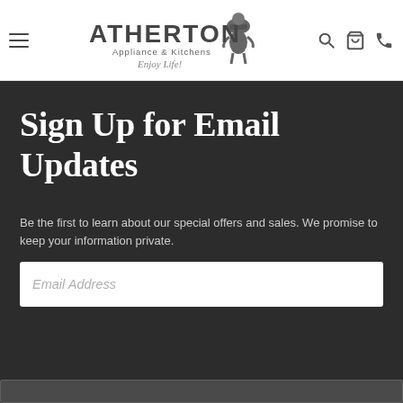[Figure (logo): Atherton Appliance & Kitchens logo with chef figure and tagline 'Enjoy Life!']
Sign Up for Email Updates
Be the first to learn about our special offers and sales. We promise to keep your information private.
Email Address